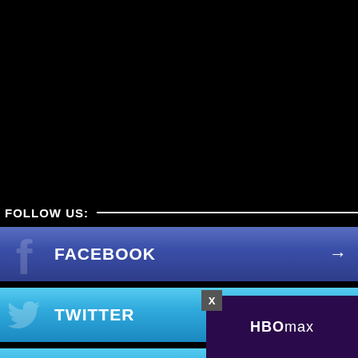[Figure (screenshot): Black background area (top portion of a web/app screen)]
FOLLOW US:
FACEBOOK →
TWITTER →
DISCORD →
[Figure (logo): HBO Max logo overlay with close button X]